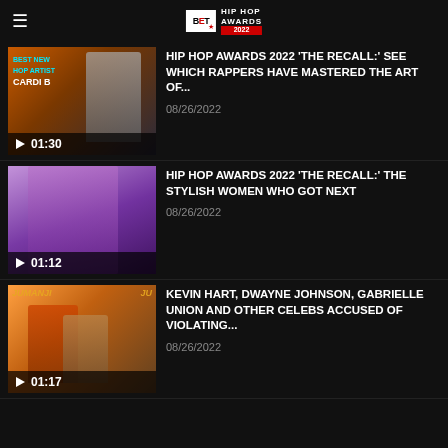BET Hip Hop Awards
[Figure (screenshot): Video thumbnail of woman at awards podium with text 'BEST NEW HOP ARTIST CARDI B']
HIP HOP AWARDS 2022 'THE RECALL:' SEE WHICH RAPPERS HAVE MASTERED THE ART OF...
08/26/2022
[Figure (screenshot): Video thumbnail of stylish woman with dramatic makeup]
HIP HOP AWARDS 2022 'THE RECALL:' THE STYLISH WOMEN WHO GOT NEXT
08/26/2022
[Figure (screenshot): Video thumbnail from Jumanji movie with Kevin Hart and Dwayne Johnson]
KEVIN HART, DWAYNE JOHNSON, GABRIELLE UNION AND OTHER CELEBS ACCUSED OF VIOLATING...
08/26/2022